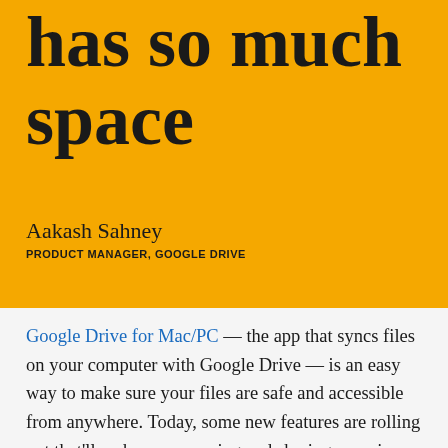has so much space
Aakash Sahney
PRODUCT MANAGER, GOOGLE DRIVE
Google Drive for Mac/PC — the app that syncs files on your computer with Google Drive — is an easy way to make sure your files are safe and accessible from anywhere. Today, some new features are rolling out that'll make your syncing and sharing experience even better.